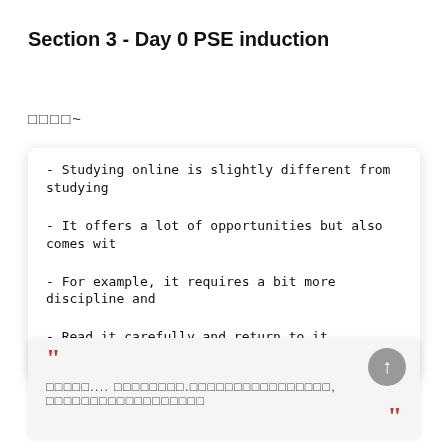Section 3 - Day 0 PSE induction
□□□□~
- Studying online is slightly different from studying
- It offers a lot of opportunities but also comes wit
- For example, it requires a bit more discipline and
- Read it carefully and return to it regularly, obser
““ □□□□□.... □□□□□□□□.□□□□□□□□□□□□□□□□, □□□□□□□□□□□□□□□□□□
””